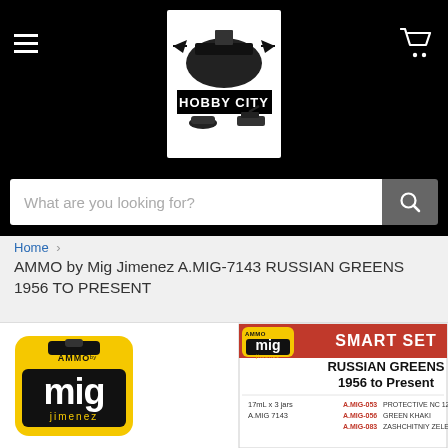[Figure (logo): Hobby City website header logo with battleship, jet fighters, racing car, and tank imagery]
What are you looking for?
Home > AMMO by Mig Jimenez A.MIG-7143 RUSSIAN GREENS 1956 TO PRESENT
AMMO by Mig Jimenez A.MIG-7143 RUSSIAN GREENS 1956 TO PRESENT
[Figure (logo): AMMO by Mig Jimenez brand logo - yellow badge shape with bullet, black background with white mig text and yellow jimenez text]
[Figure (photo): AMMO by Mig Jimenez Smart Set product box for Russian Greens 1956 to Present (A.MIG-7143), showing 3 paint jars listing A.MIG-053 Protective NC 1200, A.MIG-056 Green Khaki, A.MIG-083 Zashchitniy Zeleno]